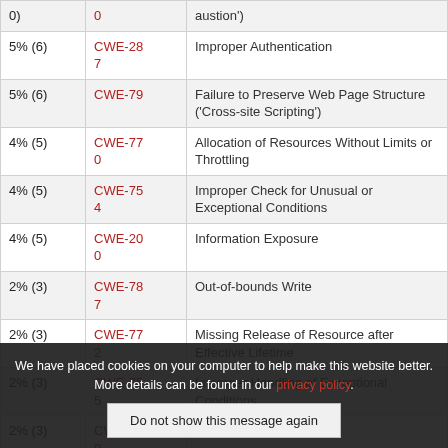| Percentage | CWE | Description |
| --- | --- | --- |
| 0) | 0 | austion') |
| 5% (6) | CWE-287 | Improper Authentication |
| 5% (6) | CWE-79 | Failure to Preserve Web Page Structure ('Cross-site Scripting') |
| 4% (5) | CWE-770 | Allocation of Resources Without Limits or Throttling |
| 4% (5) | CWE-754 | Improper Check for Unusual or Exceptional Conditions |
| 4% (5) | CWE-200 | Information Exposure |
| 2% (3) | CWE-787 | Out-of-bounds Write |
| 2% (3) | CWE-772 | Missing Release of Resource after Effective Lifetime |
| 2% (3) | CWE-755 | Improper Handling of Exceptional Conditions |
| 2% (3) | CWE-269 |  |
We have placed cookies on your computer to help make this website better. More details can be found in our privacy policy.